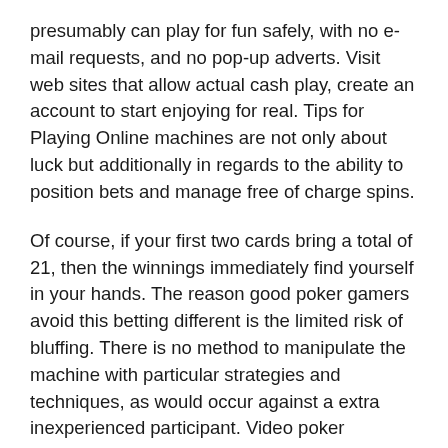presumably can play for fun safely, with no e-mail requests, and no pop-up adverts. Visit web sites that allow actual cash play, create an account to start enjoying for real. Tips for Playing Online machines are not only about luck but additionally in regards to the ability to position bets and manage free of charge spins.
Of course, if your first two cards bring a total of 21, then the winnings immediately find yourself in your hands. The reason good poker gamers avoid this betting different is the limited risk of bluffing. There is no method to manipulate the machine with particular strategies and techniques, as would occur against a extra inexperienced participant. Video poker contains a deck of fifty two playing cards, and the hands maintain their worth and power as in the regular version. The first video slot machine was created in 1976 by Fortune Coin Co. This slot makes use of a modified 19-inch Sony Trinitron color show to visualize all the functions of the device.
Yet, citizens nonetheless find a way to get to the paid